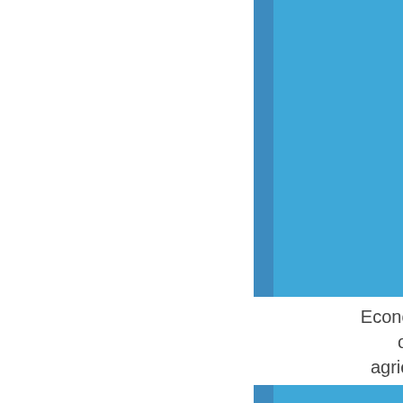[Figure (illustration): Blue book cover with a darker blue spine strip on the left side, occupying the upper portion of the page]
Economic consequences of tax reform on agricultural investment
[Figure (illustration): Partial blue book cover visible at the bottom of the page, same style as the upper cover]